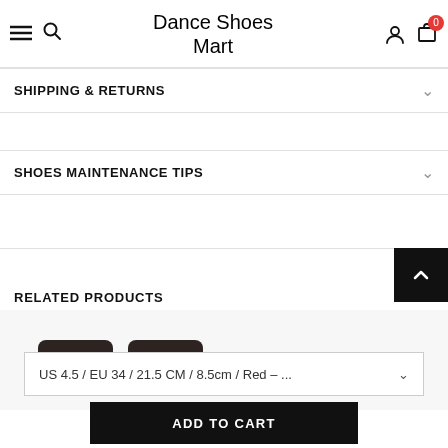Dance Shoes Mart
SHIPPING & RETURNS
SHOES MAINTENANCE TIPS
RELATED PRODUCTS
[Figure (photo): Product images of dark-colored dance shoes]
US 4.5 / EU 34 / 21.5 CM / 8.5cm / Red - ...
ADD TO CART